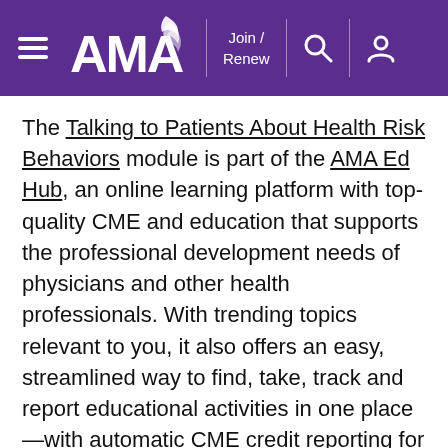AMA — Join / Renew
The Talking to Patients About Health Risk Behaviors module is part of the AMA Ed Hub, an online learning platform with top-quality CME and education that supports the professional development needs of physicians and other health professionals. With trending topics relevant to you, it also offers an easy, streamlined way to find, take, track and report educational activities in one place—with automatic CME credit reporting for some state and specialty medical boards.
[Figure (other): Thumbs up like icon in gray with the number 207 next to it]